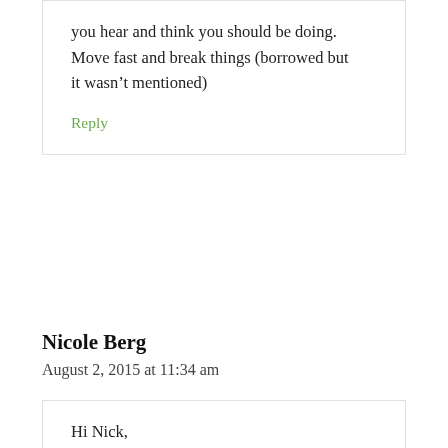you hear and think you should be doing. Move fast and break things (borrowed but it wasn't mentioned)
Reply
Nicole Berg
August 2, 2015 at 11:34 am
Hi Nick,
I really enjoy your podcast!.
My #1 tip is to join a mastermind group because “no one is an island” to